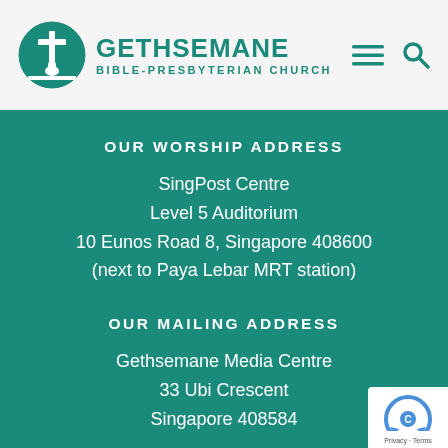GETHSEMANE BIBLE-PRESBYTERIAN CHURCH
OUR WORSHIP ADDRESS
SingPost Centre
Level 5 Auditorium
10 Eunos Road 8, Singapore 408600
(next to Paya Lebar MRT station)
OUR MAILING ADDRESS
Gethsemane Media Centre
33 Ubi Crescent
Singapore 408584